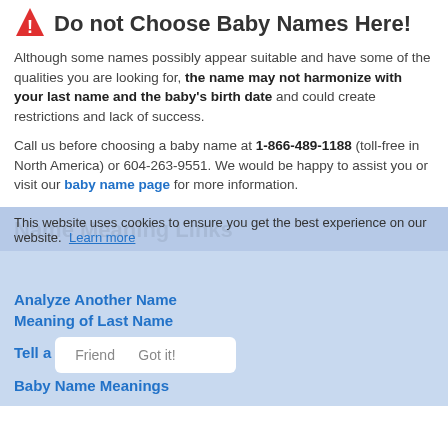Do not Choose Baby Names Here!
Although some names possibly appear suitable and have some of the qualities you are looking for, the name may not harmonize with your last name and the baby's birth date and could create restrictions and lack of success.
Call us before choosing a baby name at 1-866-489-1188 (toll-free in North America) or 604-263-9551. We would be happy to assist you or visit our baby name page for more information.
Name Meaning Links
This website uses cookies to ensure you get the best experience on our website. Learn more
Analyze Another Name
Meaning of Last Name
Tell a Friend
Baby Name Meanings